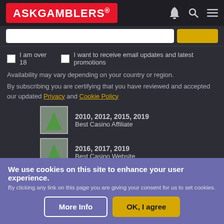ASKGAMBLERS®
I am over 18   I want to receive email updates and latest promotions
Availability may vary depending on your country or region.
By subscribing you are certifying that you have reviewed and accepted our updated Privacy and Cookie Policy
2010, 2012, 2015, 2019
Best Casino Affiliate
2016, 2017, 2019
Best Casino Website
2010, 2011, 2012, 2014, 2015, 2016, 2017, 2018
EGR'S 50 Power Affiliates
We use cookies on this site to enhance your user experience.
By clicking any link on this page you are giving your consent for us to set cookies.